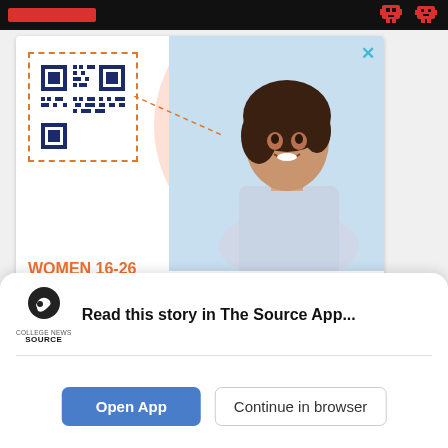[Figure (screenshot): Top dark banner with red bar and pixel-art game icons]
[Figure (photo): Advertisement for HPV clinical study featuring a smiling young woman, QR code, and text: WOMEN 16-26 WHO HAVE BEEN UNVACCINATED AGAINST HPV MAY QUALIFY FOR A PAID CLINICAL STUDY.]
[Figure (screenshot): Second advertisement strip below main ad, partially visible]
Read this story in The Source App...
Open App
Continue in browser